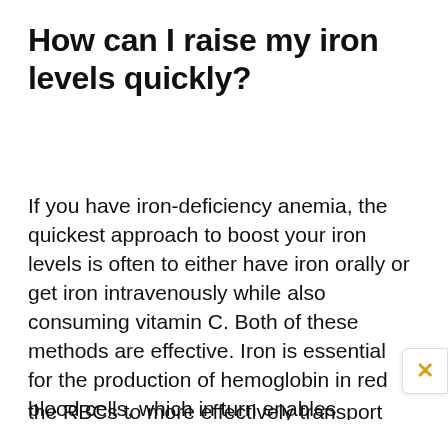How can I raise my iron levels quickly?
If you have iron-deficiency anemia, the quickest approach to boost your iron levels is often to either have iron orally or get iron intravenously while also consuming vitamin C. Both of these methods are effective. Iron is essential for the production of hemoglobin in red blood cells, which in turn enables the RBCs to more effectively transport oxygen to th...